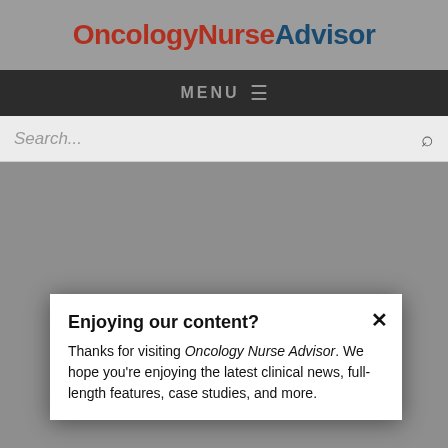OncologyNurseAdvisor
MENU
Search...
Enjoying our content?
Thanks for visiting Oncology Nurse Advisor. We hope you're enjoying the latest clinical news, full-length features, case studies, and more.
NEXT POST IN ONS ANNUAL CONGRESS 2014
Speech training improves communication for internationally educated nurses
LOGIN
REGISTER